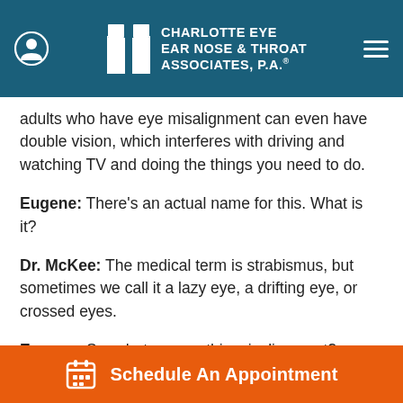[Figure (logo): Charlotte Eye Ear Nose & Throat Associates, P.A. logo with navigation header on teal background]
adults who have eye misalignment can even have double vision, which interferes with driving and watching TV and doing the things you need to do.
Eugene: There's an actual name for this. What is it?
Dr. McKee: The medical term is strabismus, but sometimes we call it a lazy eye, a drifting eye, or crossed eyes.
Eugene: So, what causes this misalignment?
Dr. McKee: There's all sorts of things that can cause it, but
Schedule An Appointment